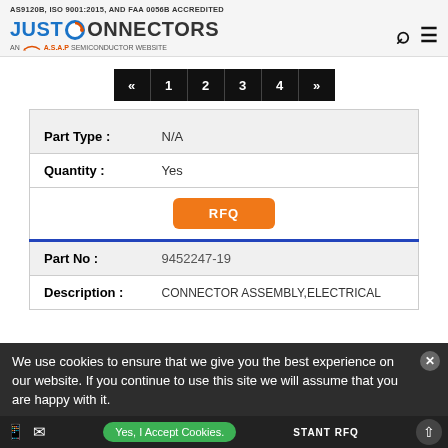AS9120B, ISO 9001:2015, AND FAA 0056B ACCREDITED
[Figure (logo): Just Connectors logo - An A.S.A.P Semiconductor Website]
« 1 2 3 4 »
| Part Type : | N/A |
| Quantity : | Yes |
|  | RFQ |
| Part No : | 9452247-19 |
| Description : | CONNECTOR ASSEMBLY,ELECTRICAL |
We use cookies to ensure that we give you the best experience on our website. If you continue to use this site we will assume that you are happy with it.
Yes, I Accept Cookies.
INSTANT RFQ